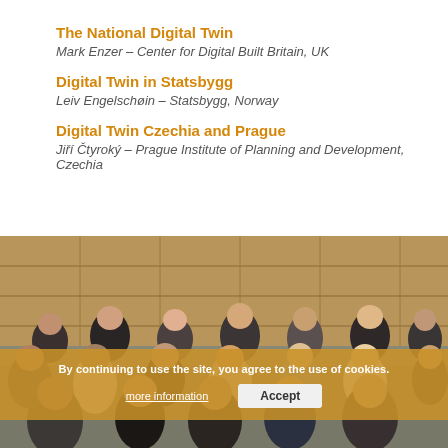The National Digital Twin
Mark Enzer – Center for Digital Built Britain, UK
Digital Twin in Statsbygg
Leiv Engelschøin – Statsbygg, Norway
Digital Twin Czechia and Prague
Jiří Čtyroký – Prague Institute of Planning and Development, Czechia
[Figure (photo): Audience members seated in rows in a conference room with wooden paneling, attending a presentation. Approximately 30 people visible, mix of standing and seated attendees.]
By continuing to use the site, you agree to the use of cookies.
more information   Accept